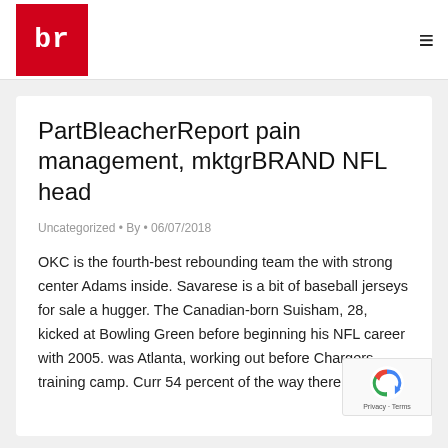br (Bleacher Report logo)
PartBleacherReport pain management, mktgrBRAND NFL head
Uncategorized • By • 06/07/2018
OKC is the fourth-best rebounding team the with strong center Adams inside. Savarese is a bit of baseball jerseys for sale a hugger. The Canadian-born Suisham, 28, kicked at Bowling Green before beginning his NFL career with 2005. was Atlanta, working out before Chargers training camp. Curr 54 percent of the way there, nfl...